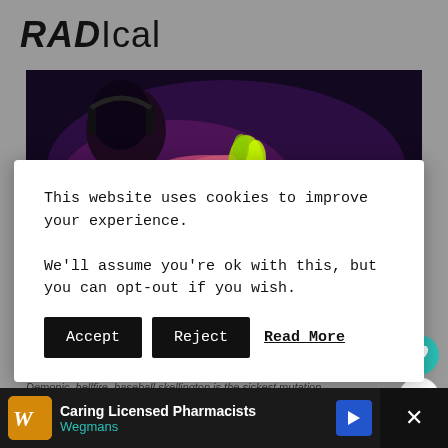RADIcal
[Figure (screenshot): Game screenshot showing a pink/purple character with glowing green elements against a dark background]
This website uses cookies to improve your experience.

We'll assume you're ok with this, but you can opt-out if you wish.
Accept   Reject   Read More
Demonic, hellfire, baseball skellington is the sickest mutation.
Pic Related.
The people who made this game really like m...
[Figure (infographic): Advertisement banner: Caring Licensed Pharmacists - Wegmans]